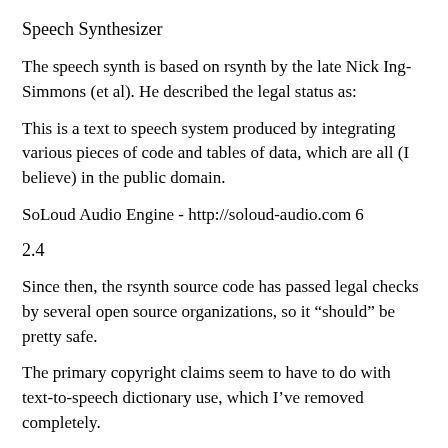Speech Synthesizer
The speech synth is based on rsynth by the late Nick Ing-Simmons (et al). He described the legal status as:
This is a text to speech system produced by integrating various pieces of code and tables of data, which are all (I believe) in the public domain.
SoLoud Audio Engine - http://soloud-audio.com 6
2.4
Since then, the rsynth source code has passed legal checks by several open source organizations, so it “should” be pretty safe.
The primary copyright claims seem to have to do with text-to-speech dictionary use, which I’ve removed completely.
I’ve done some serious refactoring, clean-up and feature removal on the source, as all I need is “a” free, simple speech synth, not a “good” speech synth. Since I’ve removed a bunch of stuff, this is probably safer public domain release than the original.
I’m placing my changes in public domain as well, or if that’s not